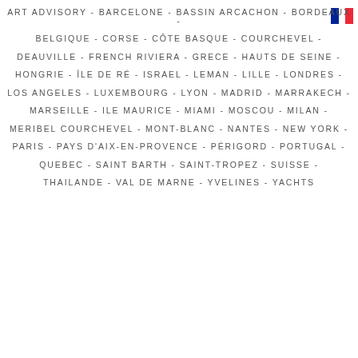[Figure (other): French flag (blue, white, red tricolor) in top right corner]
ART ADVISORY - BARCELONE - BASSIN ARCACHON - BORDEAUX -
BELGIQUE - CORSE - CÔTE BASQUE - COURCHEVEL -
DEAUVILLE - FRENCH RIVIERA - GRECE - HAUTS DE SEINE -
HONGRIE - ÎLE DE RÉ - ISRAEL - LEMAN - LILLE - LONDRES -
LOS ANGELES - LUXEMBOURG - LYON - MADRID - MARRAKECH -
MARSEILLE - ILE MAURICE - MIAMI - MOSCOU - MILAN -
MERIBEL COURCHEVEL - MONT-BLANC - NANTES - NEW YORK -
PARIS - PAYS D'AIX-EN-PROVENCE - PÉRIGORD - PORTUGAL -
QUEBEC - SAINT BARTH - SAINT-TROPEZ - SUISSE -
THAILANDE - VAL DE MARNE - YVELINES - YACHTS